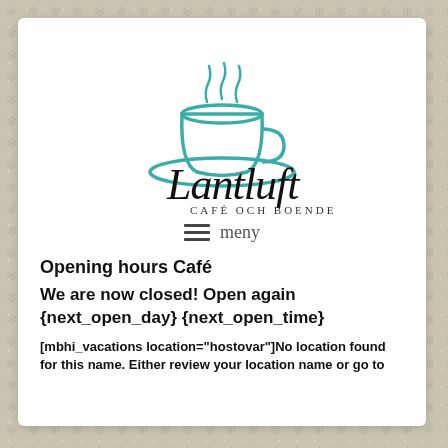[Figure (logo): Lantluft Café och Boende logo with teal coffee cup and cursive text]
≡  meny
Opening hours Café
We are now closed! Open again {next_open_day} {next_open_time}
[mbhi_vacations location="hostovar"]No location found for this name. Either review your location name or go to